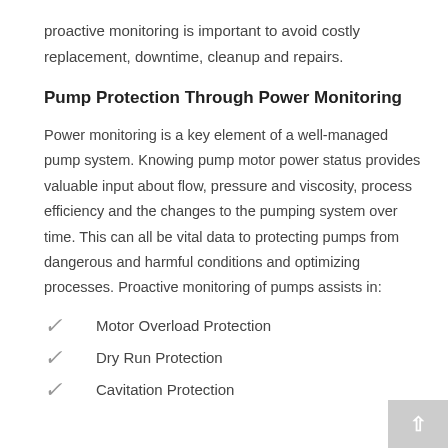proactive monitoring is important to avoid costly replacement, downtime, cleanup and repairs.
Pump Protection Through Power Monitoring
Power monitoring is a key element of a well-managed pump system. Knowing pump motor power status provides valuable input about flow, pressure and viscosity, process efficiency and the changes to the pumping system over time. This can all be vital data to protecting pumps from dangerous and harmful conditions and optimizing processes. Proactive monitoring of pumps assists in:
Motor Overload Protection
Dry Run Protection
Cavitation Protection